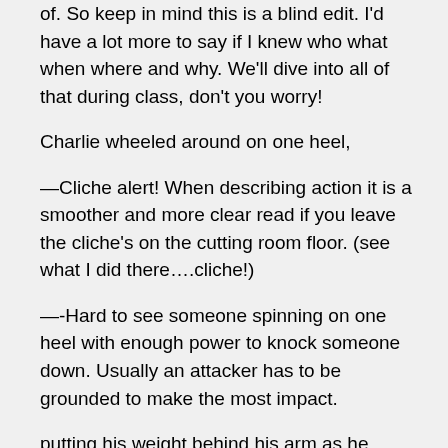of. So keep in mind this is a blind edit. I'd have a lot more to say if I knew who what when where and why. We'll dive into all of that during class, don't you worry!
Charlie wheeled around on one heel,
—Cliche alert! When describing action it is a smoother and more clear read if you leave the cliche's on the cutting room floor. (see what I did there….cliche!)
—-Hard to see someone spinning on one heel with enough power to knock someone down. Usually an attacker has to be grounded to make the most impact.
putting his weight behind his arm as he